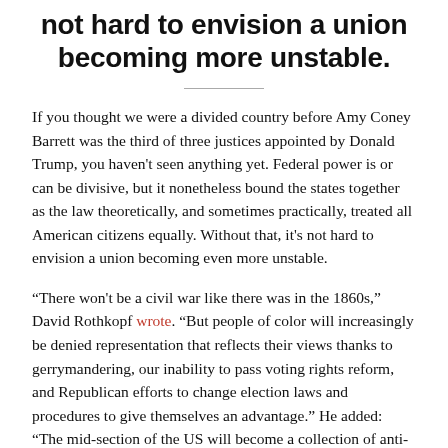not hard to envision a union becoming more unstable.
If you thought we were a divided country before Amy Coney Barrett was the third of three justices appointed by Donald Trump, you haven't seen anything yet. Federal power is or can be divisive, but it nonetheless bound the states together as the law theoretically, and sometimes practically, treated all American citizens equally. Without that, it's not hard to envision a union becoming even more unstable.
“There won't be a civil war like there was in the 1860s,” David Rothkopf wrote. “But people of color will increasingly be denied representation that reflects their views thanks to gerrymandering, our inability to pass voting rights reform, and Republican efforts to change election laws and procedures to give themselves an advantage.” He added: “The mid-section of the US will become a collection of anti-science, anti-history, anti-woman, anti-Black, anti-immigrant, anti-federal government theocracies, minority-ruled faux-